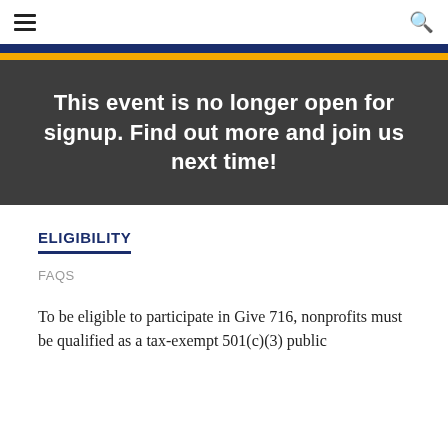☰  🔍
This event is no longer open for signup. Find out more and join us next time!
ELIGIBILITY
FAQS
To be eligible to participate in Give 716, nonprofits must be qualified as a tax-exempt 501(c)(3) public